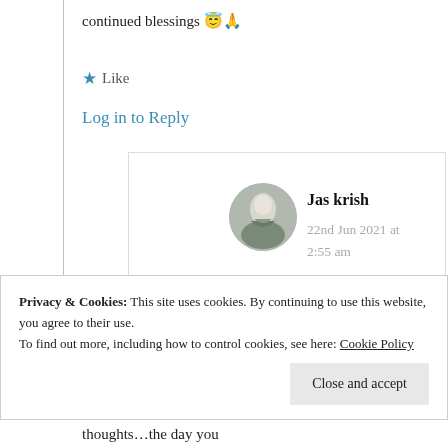continued blessings 😇🙏
★ Like
Log in to Reply
Jas krish
22nd Jun 2021 at 2:55 am
Privacy & Cookies: This site uses cookies. By continuing to use this website, you agree to their use.
To find out more, including how to control cookies, see here: Cookie Policy
Close and accept
thoughts…the day you